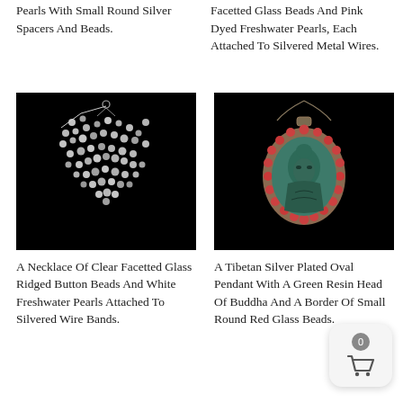Pearls With Small Round Silver Spacers And Beads.
Facetted Glass Beads And Pink Dyed Freshwater Pearls, Each Attached To Silvered Metal Wires.
[Figure (photo): A necklace of clear facetted glass ridged button beads and white freshwater pearls on a black background]
A Necklace Of Clear Facetted Glass Ridged Button Beads And White Freshwater Pearls Attached To Silvered Wire Bands.
[Figure (photo): A Tibetan silver plated oval pendant with a green resin head of Buddha and a border of small round red glass beads, on a black background]
A Tibetan Silver Plated Oval Pendant With A Green Resin Head Of Buddha And A Border Of Small Round Red Glass Beads.